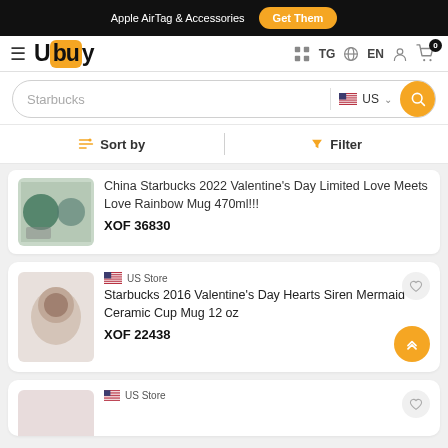Apple AirTag & Accessories  Get Them
[Figure (logo): Ubuy logo with orange background box]
Starbucks (search query)
Sort by  Filter
China Starbucks 2022 Valentine's Day Limited Love Meets Love Rainbow Mug 470ml!!! XOF 36830
US Store  Starbucks 2016 Valentine's Day Hearts Siren Mermaid Ceramic Cup Mug 12 oz  XOF 22438
US Store